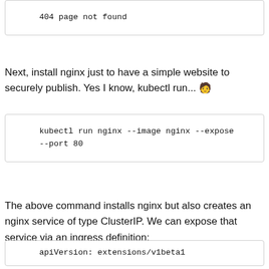404 page not found
Next, install nginx just to have a simple website to securely publish. Yes I know, kubectl run... 🧑
kubectl run nginx --image nginx --expose --port 80
The above command installs nginx but also creates an nginx service of type ClusterIP. We can expose that service via an ingress definition:
apiVersion: extensions/v1beta1